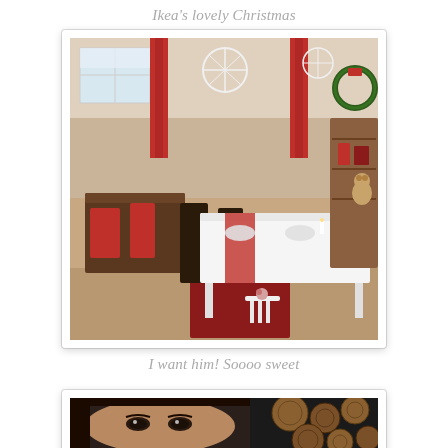Ikea's lovely Christmas
[Figure (photo): Interior photo of an IKEA Christmas display showroom with dining tables set for Christmas, red chairs, red curtains, white tablecloths, Christmas decorations including snowflake ornaments hanging from ceiling, candles, and a small white stool in the foreground]
I want him! Soooo sweet
[Figure (photo): Partial photo showing a person's face (eyes visible) against a dark background with circular wood slice decorations]